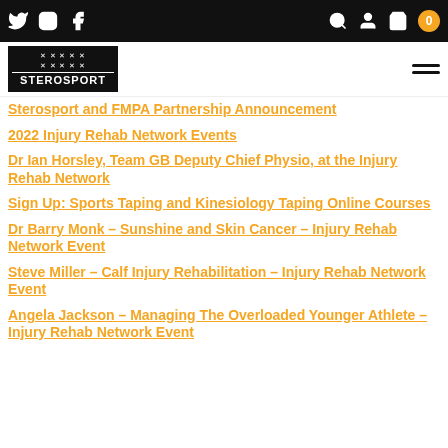Sterosport navigation header with social icons and logo
Sterosport and FMPA Partnership Announcement
2022 Injury Rehab Network Events
Dr Ian Horsley, Team GB Deputy Chief Physio, at the Injury Rehab Network
Sign Up: Sports Taping and Kinesiology Taping Online Courses
Dr Barry Monk – Sunshine and Skin Cancer – Injury Rehab Network Event
Steve Miller – Calf Injury Rehabilitation – Injury Rehab Network Event
Angela Jackson – Managing The Overloaded Younger Athlete – Injury Rehab Network Event